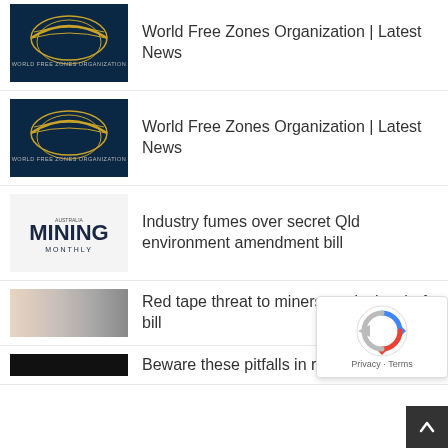World Free Zones Organization | Latest News
World Free Zones Organization | Latest News
Industry fumes over secret Qld environment amendment bill
Red tape threat to miners, agricul... draft bill
Beware these pitfalls in review of defence